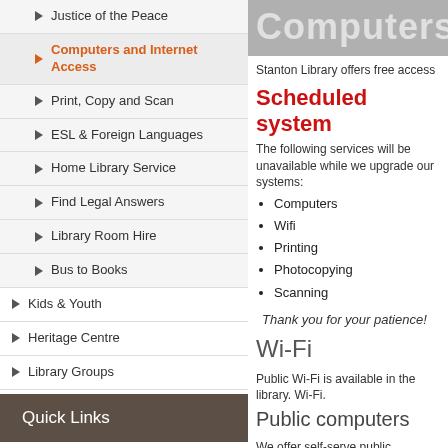Justice of the Peace
Computers and Internet Access
Print, Copy and Scan
ESL & Foreign Languages
Home Library Service
Find Legal Answers
Library Room Hire
Bus to Books
Kids & Youth
Heritage Centre
Library Groups
Quick Links
Credit Card payments form
Library Catalogue
Computers
Stanton Library offers free access
Scheduled system
The following services will be unav... we upgrade our systems:
Computers
Wifi
Printing
Photocopying
Scanning
Thank you for your patience!
Wi-Fi
Public Wi-Fi is available in the libra... Wi-Fi.
Public computers
We offer self-serve public compute... You do not need to be a member...